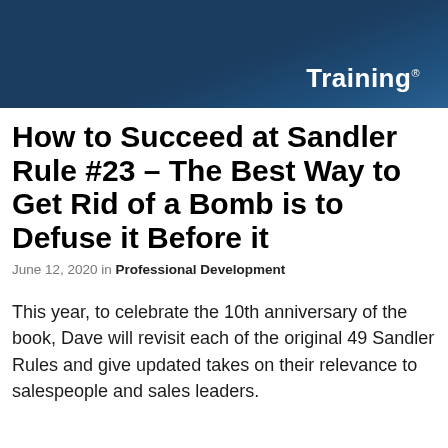Training®
How to Succeed at Sandler Rule #23 – The Best Way to Get Rid of a Bomb is to Defuse it Before it
June 12, 2020 in Professional Development
This year, to celebrate the 10th anniversary of the book, Dave will revisit each of the original 49 Sandler Rules and give updated takes on their relevance to salespeople and sales leaders.